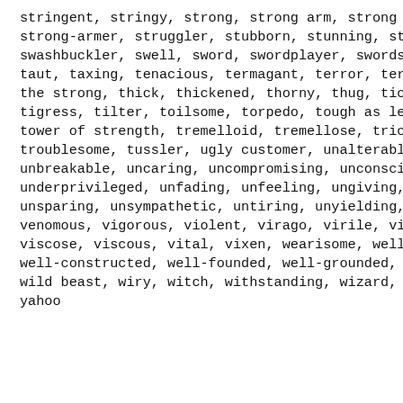stringent, stringy, strong, strong arm, strong man, strong-armer, struggler, stubborn, stunning, sturdy, swashbuckler, swell, sword, swordplayer, swordsman, taut, taxing, tenacious, termagant, terror, terror, the strong, thick, thickened, thorny, thug, tickli, tigress, tilter, toilsome, torpedo, tough as leath, tower of strength, tremelloid, tremellose, tricky, troublesome, tussler, ugly customer, unalterable, unbreakable, uncaring, uncompromising, unconsciona, underprivileged, unfading, unfeeling, ungiving, un, unsparing, unsympathetic, untiring, unyielding, up, venomous, vigorous, violent, virago, virile, virul, viscose, viscous, vital, vixen, wearisome, well-bu, well-constructed, well-founded, well-grounded, wel, wild beast, wiry, witch, withstanding, wizard, wol, yahoo